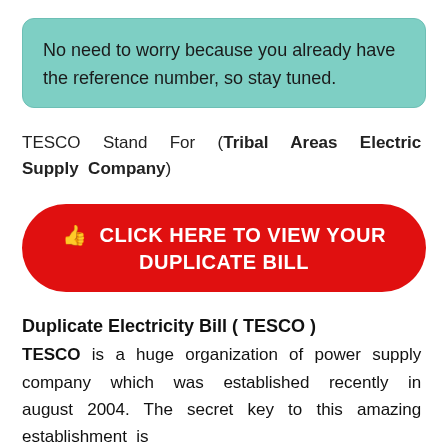No need to worry because you already have the reference number, so stay tuned.
TESCO Stand For (Tribal Areas Electric Supply Company)
[Figure (other): Red pill-shaped button with white text and thumbs-up icon: CLICK HERE TO VIEW YOUR DUPLICATE BILL]
Duplicate Electricity Bill ( TESCO )
TESCO is a huge organization of power supply company which was established recently in august 2004. The secret key to this amazing establishment is